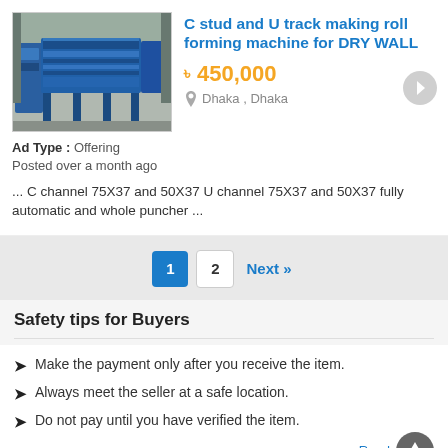C stud and U track making roll forming machine for DRY WALL
৳ 450,000
Dhaka , Dhaka
Ad Type: Offering
Posted over a month ago
... C channel 75X37 and 50X37 U channel 75X37 and 50X37 fully automatic and whole puncher ...
1  2  Next »
Safety tips for Buyers
Make the payment only after you receive the item.
Always meet the seller at a safe location.
Do not pay until you have verified the item.
Read more »
Copyright 2022. Banglabuysell All Rights Reserved.